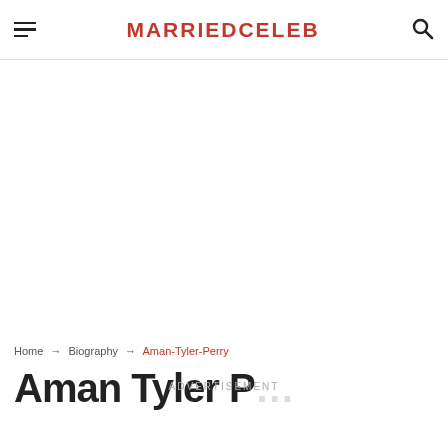MARRIEDCELEB
[Figure (other): Advertisement / blank ad placeholder area]
Home → Biography → Aman-Tyler-Perry
Aman Tyler P…
ADVERTISEMENT